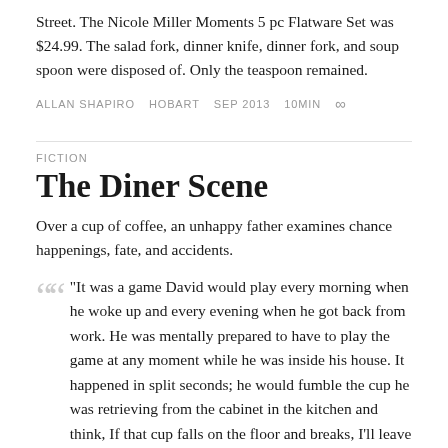Street. The Nicole Miller Moments 5 pc Flatware Set was $24.99. The salad fork, dinner knife, dinner fork, and soup spoon were disposed of. Only the teaspoon remained.
ALLAN SHAPIRO   HOBART   SEP 2013   10MIN   ∞
FICTION
The Diner Scene
Over a cup of coffee, an unhappy father examines chance happenings, fate, and accidents.
"It was a game David would play every morning when he woke up and every evening when he got back from work. He was mentally prepared to have to play the game at any moment while he was inside his house. It happened in split seconds; he would fumble the cup he was retrieving from the cabinet in the kitchen and think, If that cup falls on the floor and breaks, I'll leave my wife. He would bump his car against the side of his overstuffed garage backing out and think, If that bumper just got dented or the taillight just shattered, that's it. I'm